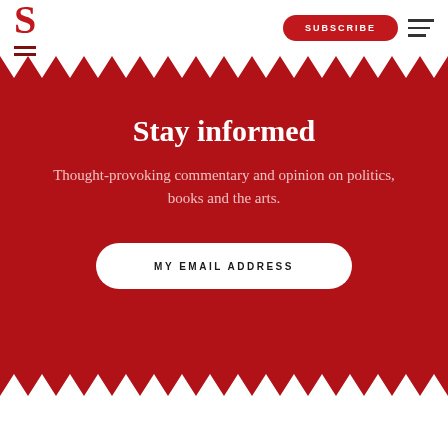[Figure (logo): Spectator magazine logo: large red S with two dark red horizontal lines]
SUBSCRIBE
Stay informed
Thought-provoking commentary and opinion on politics, books and the arts.
MY EMAIL ADDRESS